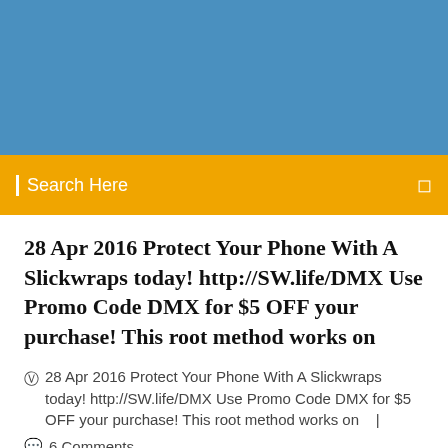[Figure (other): Blue header banner background]
Search Here
28 Apr 2016 Protect Your Phone With A Slickwraps today! http://SW.life/DMX Use Promo Code DMX for $5 OFF your purchase! This root method works on
28 Apr 2016 Protect Your Phone With A Slickwraps today! http://SW.life/DMX Use Promo Code DMX for $5 OFF your purchase! This root method works on   |
6 Comments